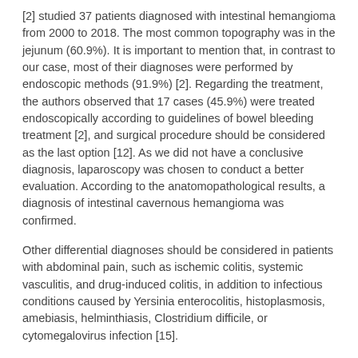[2] studied 37 patients diagnosed with intestinal hemangioma from 2000 to 2018. The most common topography was in the jejunum (60.9%). It is important to mention that, in contrast to our case, most of their diagnoses were performed by endoscopic methods (91.9%) [2]. Regarding the treatment, the authors observed that 17 cases (45.9%) were treated endoscopically according to guidelines of bowel bleeding treatment [2], and surgical procedure should be considered as the last option [12]. As we did not have a conclusive diagnosis, laparoscopy was chosen to conduct a better evaluation. According to the anatomopathological results, a diagnosis of intestinal cavernous hemangioma was confirmed.
Other differential diagnoses should be considered in patients with abdominal pain, such as ischemic colitis, systemic vasculitis, and drug-induced colitis, in addition to infectious conditions caused by Yersinia enterocolitis, histoplasmosis, amebiasis, helminthiasis, Clostridium difficile, or cytomegalovirus infection [15].
Conclusions
Clinical, endoscopic, and radiological manifestations of hemangioma and other gastrointestinal diseases overlap, a fact that can delay accurate diagnosis owing to the wide range of possible etiologies.